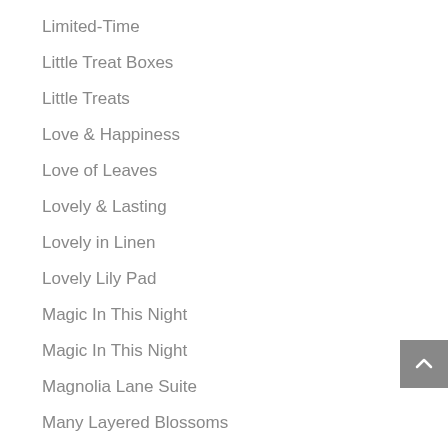Limited-Time
Little Treat Boxes
Little Treats
Love & Happiness
Love of Leaves
Lovely & Lasting
Lovely in Linen
Lovely Lily Pad
Magic In This Night
Magic In This Night
Magnolia Lane Suite
Many Layered Blossoms
Many Messages
Masculine